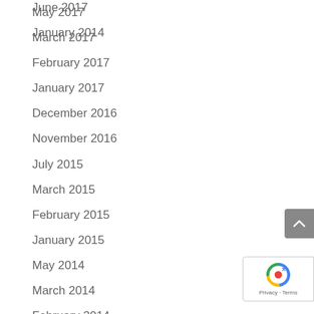June 2017
May 2017
March 2017
February 2017
January 2017
December 2016
November 2016
July 2015
March 2015
February 2015
January 2015
May 2014
March 2014
February 2014
January 2014